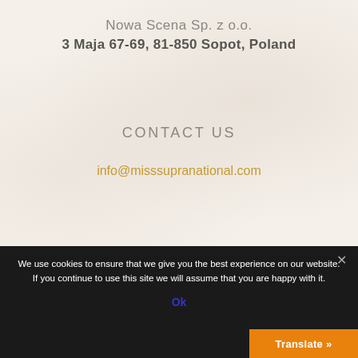Nowa Scena Sp. z o.o.
3 Maja 67-69, 81-850 Sopot, Poland
CONTACT US
info@misssupranational.com
We use cookies to ensure that we give you the best experience on our website. If you continue to use this site we will assume that you are happy with it.
Ok
Translate »